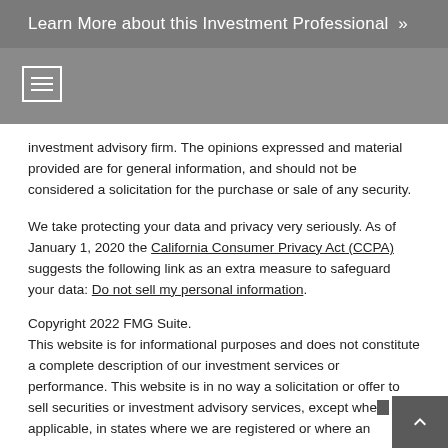Learn More about this Investment Professional »
[Figure (other): Hamburger menu icon (three horizontal lines) inside a bordered box]
investment advisory firm. The opinions expressed and material provided are for general information, and should not be considered a solicitation for the purchase or sale of any security.
We take protecting your data and privacy very seriously. As of January 1, 2020 the California Consumer Privacy Act (CCPA) suggests the following link as an extra measure to safeguard your data: Do not sell my personal information.
Copyright 2022 FMG Suite.
This website is for informational purposes and does not constitute a complete description of our investment services or performance. This website is in no way a solicitation or offer to sell securities or investment advisory services, except where applicable, in states where we are registered or where an